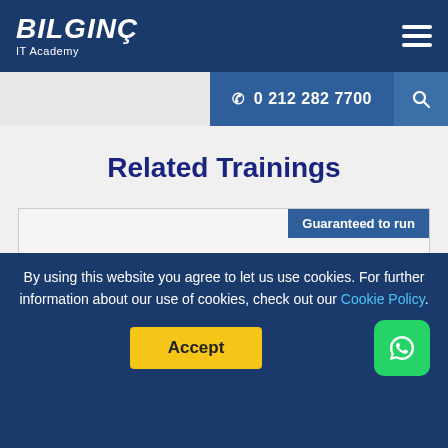BILGINC IT Academy
0 212 282 7700
Related Trainings
[Figure (other): Training card with Guaranteed to run badge and partial title 'Architecting with Google Compute']
By using this website you agree to let us use cookies. For further information about our use of cookies, check out our Cookie Policy.
Accept